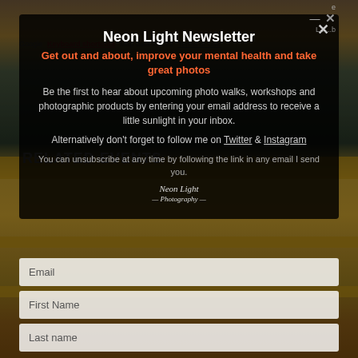[Figure (screenshot): Background showing a coastal landscape photo at sunset with golden/orange tones, overlaid with a semi-transparent newsletter signup modal]
Neon Light Newsletter
Get out and about, improve your mental health and take great photos
Be the first to hear about upcoming photo walks, workshops and photographic products by entering your email address to receive a little sunlight in your inbox.
Alternatively don't forget to follow me on Twitter & Instagram
You can unsubscribe at any time by following the link in any email I send you.
RELATED EVENTS
Email
First Name
Last name